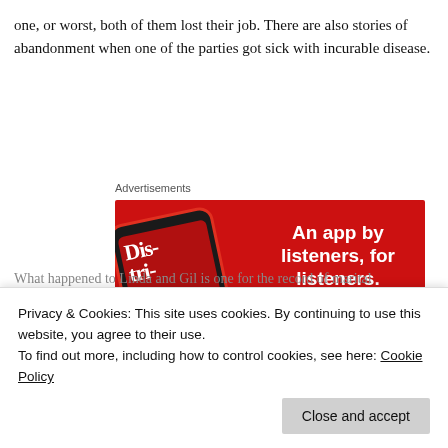one, or worst, both of them lost their job. There are also stories of abandonment when one of the parties got sick with incurable disease.
Advertisements
[Figure (illustration): Red advertisement banner for a podcast app showing a smartphone with 'Dis-tri-bu-ted' text on screen, with tagline 'An app by listeners, for listeners.' and a 'Download now' button on red background.]
Privacy & Cookies: This site uses cookies. By continuing to use this website, you agree to their use.
To find out more, including how to control cookies, see here: Cookie Policy
What happened to Linda and Gil is one for the record of marital